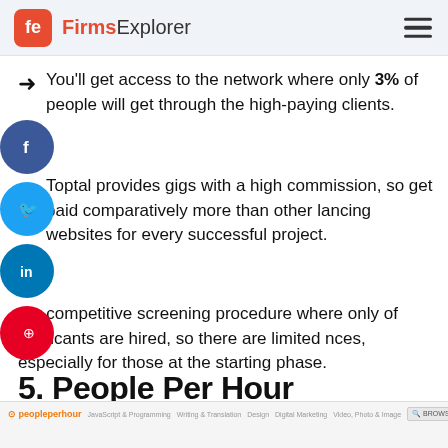FirmsExplorer
You'll get access to the network where only 3% of people will get through the high-paying clients.
Toptal provides gigs with a high commission, so get paid comparatively more than other lancing websites for every successful project.
very competitive screening procedure where only of applicants are hired, so there are limited nces, especially for those at the starting phase.
5. People Per Hour
[Figure (screenshot): PeoplePerHour website screenshot showing navigation bar and partial homepage]